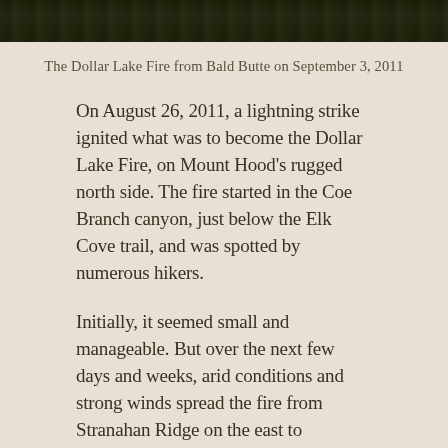[Figure (photo): Dark forest landscape photo strip at the top of the page, showing silhouettes of conifer trees against a dark sky.]
The Dollar Lake Fire from Bald Butte on September 3, 2011
On August 26, 2011, a lightning strike ignited what was to become the Dollar Lake Fire, on Mount Hood's rugged north side. The fire started in the Coe Branch canyon, just below the Elk Cove trail, and was spotted by numerous hikers.
Initially, it seemed small and manageable. But over the next few days and weeks, arid conditions and strong winds spread the fire from Stranahan Ridge on the east to Cathedral Ridge on the northwest side of the mountain, eventually consuming some 6,300 acres of high elevation forest. The blaze burned through September and into early October, when fall rains finally